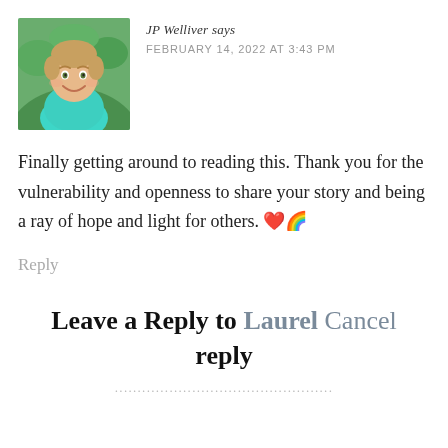[Figure (photo): Profile photo of JP Welliver, a smiling man in a teal/mint shirt, outdoors with green foliage background]
JP Welliver says
FEBRUARY 14, 2022 AT 3:43 PM
Finally getting around to reading this. Thank you for the vulnerability and openness to share your story and being a ray of hope and light for others. ❤️🌈
Reply
Leave a Reply to Laurel Cancel reply